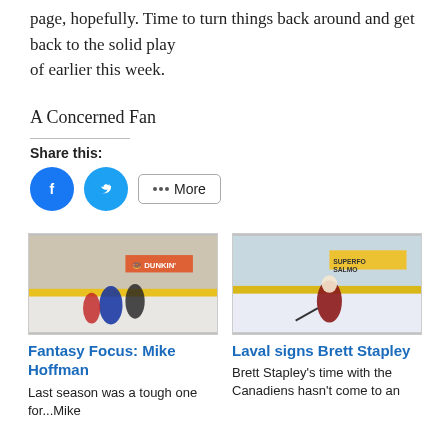page, hopefully. Time to turn things back around and get back to the solid play of earlier this week.
A Concerned Fan
Share this:
[Figure (other): Facebook share button (blue circle with F icon) and Twitter share button (blue circle with bird icon) and More button]
[Figure (photo): Hockey game photo showing Montreal Canadiens players skating, with Dunkin' advertisement banner visible in background]
Fantasy Focus: Mike Hoffman
Last season was a tough one for...Mike
[Figure (photo): Hockey player in maroon/white uniform skating on ice, with SUPERFOOD SALMON advertisement visible in background]
Laval signs Brett Stapley
Brett Stapley's time with the Canadiens hasn't come to an